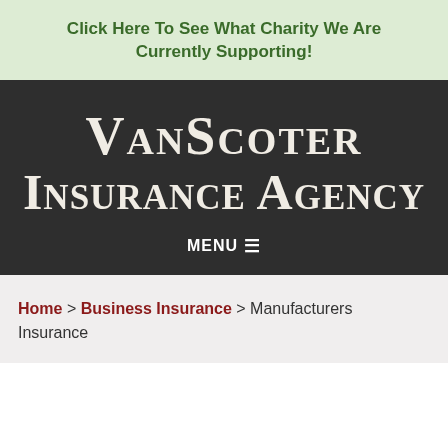Click Here To See What Charity We Are Currently Supporting!
[Figure (logo): VanScoter Insurance Agency logo in white serif text on dark charcoal background]
MENU ☰
Home > Business Insurance > Manufacturers Insurance